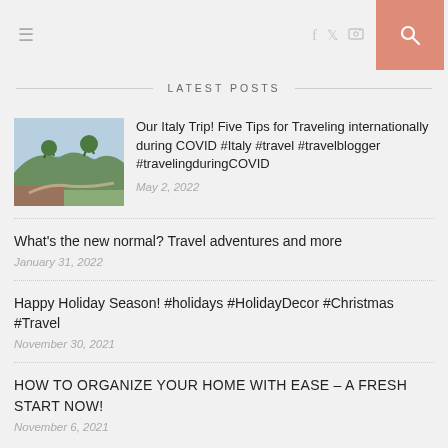Navigation bar with hamburger menu, social icons (f, twitter, instagram), and search button
LATEST POSTS
Our Italy Trip! Five Tips for Traveling internationally during COVID #Italy #travel #travelblogger #travelingduringCOVID
May 2, 2022
What's the new normal? Travel adventures and more
January 31, 2022
Happy Holiday Season! #holidays #HolidayDecor #Christmas #Travel
November 30, 2021
HOW TO ORGANIZE YOUR HOME WITH EASE – A FRESH START NOW!
November 6, 2021